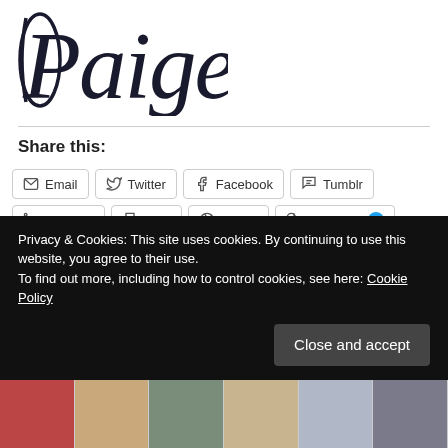Paige
Share this:
Email | Twitter | Facebook | Tumblr | LinkedIn | Print | Reddit | Pinterest 2 | WhatsApp
Like | [crow icon] | [avatar]
2 bloggers like this.
Privacy & Cookies: This site uses cookies. By continuing to use this website, you agree to their use. To find out more, including how to control cookies, see here: Cookie Policy
[Figure (photo): Row of thumbnail images at the bottom of the page]